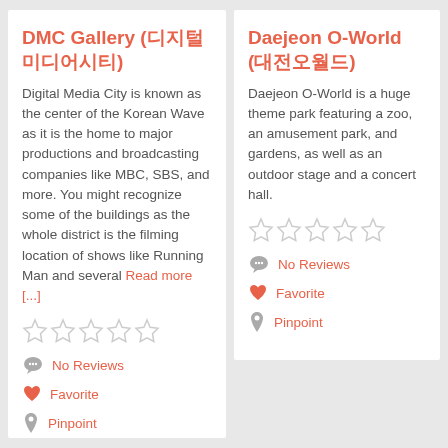DMC Gallery (디지털미디어시티)
Digital Media City is known as the center of the Korean Wave as it is the home to major productions and broadcasting companies like MBC, SBS, and more. You might recognize some of the buildings as the whole district is the filming location of shows like Running Man and several Read more [...]
[Figure (other): Five empty star rating icons in a row]
No Reviews
Favorite
Pinpoint
Daejeon O-World (대전오월드)
Daejeon O-World is a huge theme park featuring a zoo, an amusement park, and gardens, as well as an outdoor stage and a concert hall.
[Figure (other): Five empty star rating icons in a row]
No Reviews
Favorite
Pinpoint